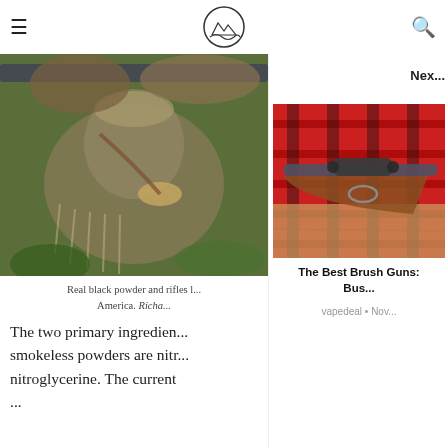☰  [logo]  🔍
[Figure (photo): Black and white blurry photo of a person in fringed buckskin clothing holding a rifle, with animal furs in the background]
Real black powder and rifles l... America. Richa...
The two primary ingredien... smokeless powders are nitr... nitroglycerine. The current...
Nex...
[Figure (photo): Photo of a rifle with wooden stock and scope resting on a red and black plaid cloth on a wooden surface]
The Best Brush Guns: ... Bus...
vapedeal • Nov...